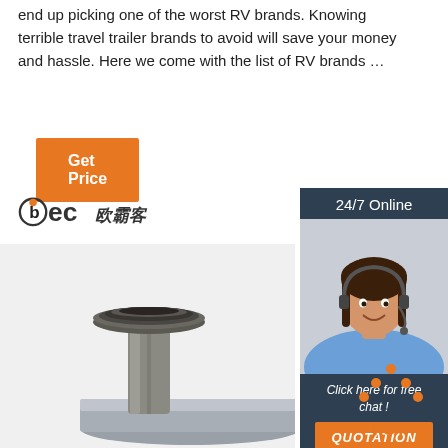end up picking one of the worst RV brands. Knowing terrible travel trailer brands to avoid will save your money and hassle. Here we come with the list of RV brands …
[Figure (other): Orange 'Get Price' button]
[Figure (other): 24/7 Online chat widget with photo of woman wearing headset, 'Click here for free chat!' text, and orange QUOTATION button]
[Figure (logo): bec 欧霸客 logo]
[Figure (photo): Product photo of a metal post/spindle component with a disc top, showing a bearing or rotating part on a gray metallic base]
[Figure (other): Orange TOP button with upward-pointing arrow dots icon]